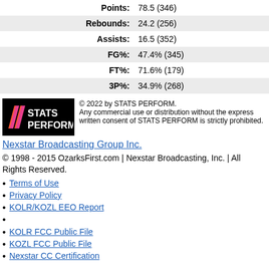| Points: | 78.5 (346) |
| Rebounds: | 24.2 (256) |
| Assists: | 16.5 (352) |
| FG%: | 47.4% (345) |
| FT%: | 71.6% (179) |
| 3P%: | 34.9% (268) |
[Figure (logo): STATS PERFORM logo on black background with pink/orange slash marks]
© 2022 by STATS PERFORM. Any commercial use or distribution without the express written consent of STATS PERFORM is strictly prohibited.
Nexstar Broadcasting Group Inc.
© 1998 - 2015 OzarksFirst.com | Nexstar Broadcasting, Inc. | All Rights Reserved.
Terms of Use
Privacy Policy
KOLR/KOZL EEO Report
KOLR FCC Public File
KOZL FCC Public File
Nexstar CC Certification